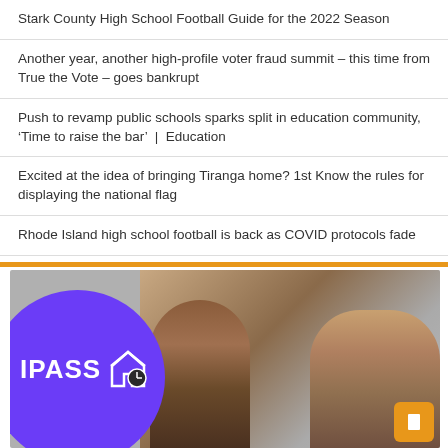Stark County High School Football Guide for the 2022 Season
Another year, another high-profile voter fraud summit – this time from True the Vote – goes bankrupt
Push to revamp public schools sparks split in education community, ‘Time to raise the bar’ | Education
Excited at the idea of bringing Tiranga home? 1st Know the rules for displaying the national flag
Rhode Island high school football is back as COVID protocols fade
[Figure (photo): IPASS logo on purple circular blob on the left; two people (a woman with glasses and curly hair, a man smiling) in a photo on the right, with an orange button in the bottom-right corner]